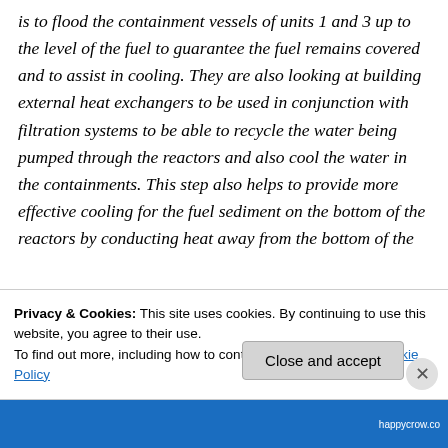is to flood the containment vessels of units 1 and 3 up to the level of the fuel to guarantee the fuel remains covered and to assist in cooling. They are also looking at building external heat exchangers to be used in conjunction with filtration systems to be able to recycle the water being pumped through the reactors and also cool the water in the containments. This step also helps to provide more effective cooling for the fuel sediment on the bottom of the reactors by conducting heat away from the bottom of the
Privacy & Cookies: This site uses cookies. By continuing to use this website, you agree to their use.
To find out more, including how to control cookies, see here: Cookie Policy
Close and accept